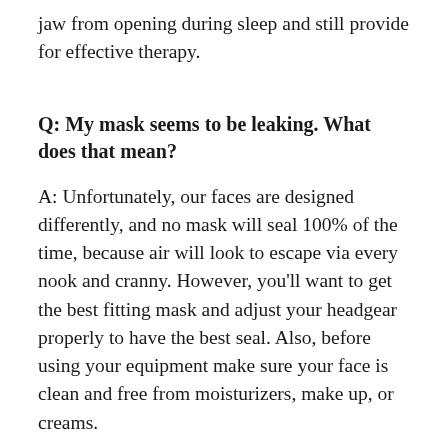jaw from opening during sleep and still provide for effective therapy.
Q: My mask seems to be leaking. What does that mean?
A: Unfortunately, our faces are designed differently, and no mask will seal 100% of the time, because air will look to escape via every nook and cranny. However, you'll want to get the best fitting mask and adjust your headgear properly to have the best seal. Also, before using your equipment make sure your face is clean and free from moisturizers, make up, or creams.